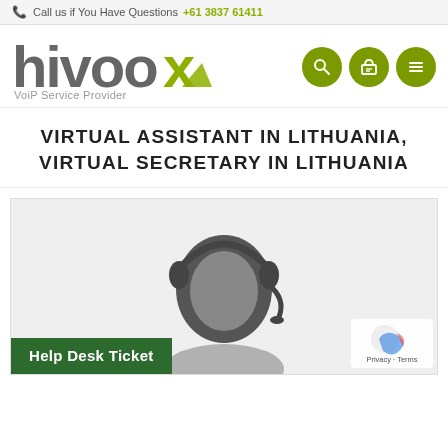Call us if You Have Questions +61 3837 61411
[Figure (logo): hivoox VoiP Service Provider logo with green accent on the x]
VIRTUAL ASSISTANT IN LITHUANIA, VIRTUAL SECRETARY IN LITHUANIA
[Figure (illustration): Illustration of a person wearing a headset, representing a virtual assistant or secretary]
Help Desk Ticket